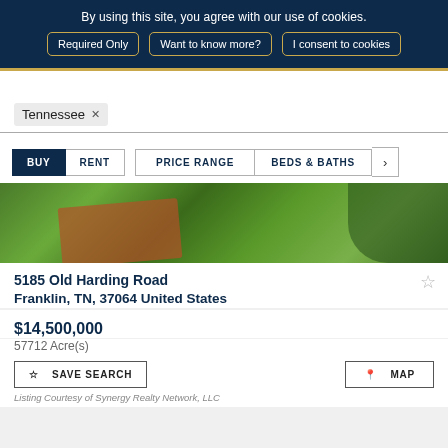By using this site, you agree with our use of cookies.
Required Only | Want to know more? | I consent to cookies
Tennessee ×
BUY  RENT  PRICE RANGE  BEDS & BATHS
[Figure (photo): Aerial photograph of a farm property with a red-roofed building surrounded by green fields and trees]
5185 Old Harding Road
Franklin, TN, 37064 United States
$14,500,000
57712 Acre(s)
SAVE SEARCH
MAP
Listing Courtesy of Synergy Realty Network, LLC